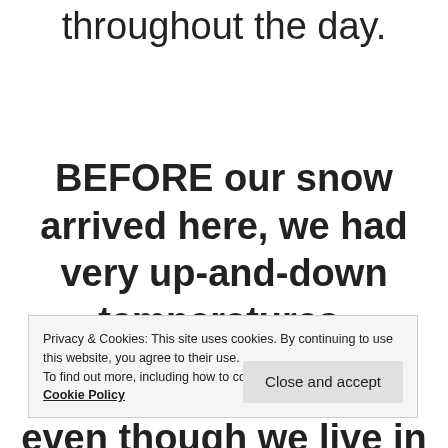throughout the day.
BEFORE our snow arrived here, we had very up-and-down temperatures.
Privacy & Cookies: This site uses cookies. By continuing to use this website, you agree to their use.
To find out more, including how to control cookies, see here: Cookie Policy
Close and accept
even though we live in